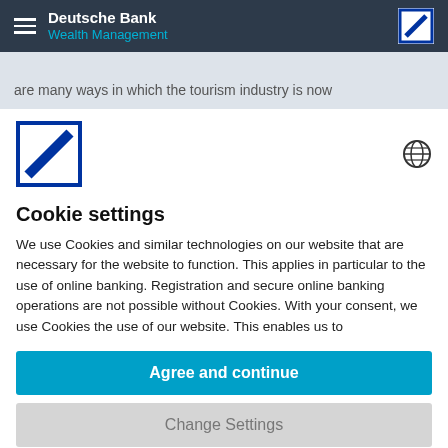Deutsche Bank Wealth Management
are many ways in which the tourism industry is now
[Figure (logo): Deutsche Bank logo — blue square with white diagonal slash]
[Figure (other): Globe icon for language/region selection]
Cookie settings
We use Cookies and similar technologies on our website that are necessary for the website to function. This applies in particular to the use of online banking. Registration and secure online banking operations are not possible without Cookies. With your consent, we use Cookies the use of our website. This enables us to
Agree and continue
Change Settings